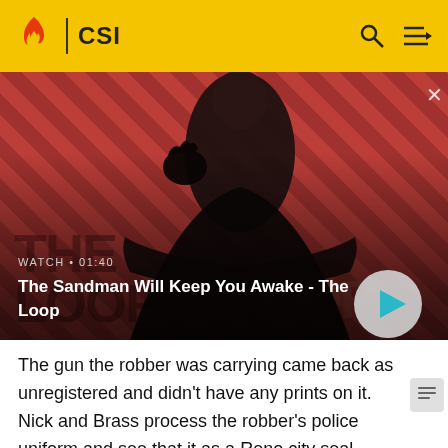CSI
[Figure (screenshot): Promotional video thumbnail for 'The Sandman Will Keep You Awake - The Loop' showing a dark-clad figure with a raven on their shoulder against a red diagonal stripe background. Shows WATCH • 01:40 label and a play button.]
The Sandman Will Keep You Awake - The Loop
The gun the robber was carrying came back as unregistered and didn't have any prints on it. Nick and Brass process the robber's police uniform and see that it as a Reno city seal. Brass finds evidence that the uniform is real while everything else is fake; at some point, a real